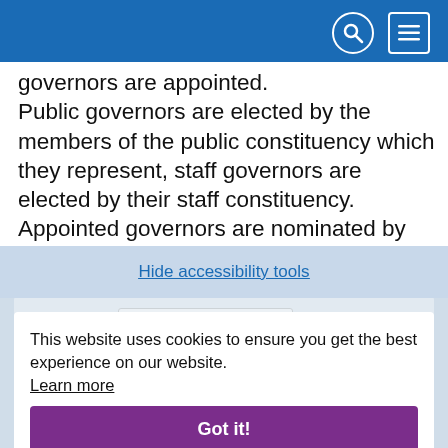[Navigation header with search and menu icons]
governors are appointed. Public governors are elected by the members of the public constituency which they represent, staff governors are elected by their staff constituency. Appointed governors are nominated by partnership organisations. Public Governor elections are held when there are vacancies on the Council of Governors and are organised by [an independent provider on
Hide accessibility tools
This website uses cookies to ensure you get the best experience on our website. Learn more
Got it!